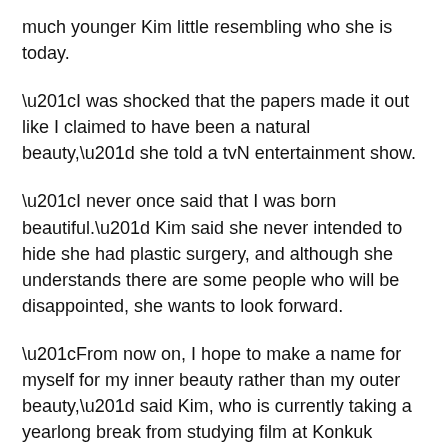much younger Kim little resembling who she is today.
“I was shocked that the papers made it out like I claimed to have been a natural beauty,” she told a tvN entertainment show.
“I never once said that I was born beautiful.” Kim said she never intended to hide she had plastic surgery, and although she understands there are some people who will be disappointed, she wants to look forward.
“From now on, I hope to make a name for myself for my inner beauty rather than my outer beauty,” said Kim, who is currently taking a yearlong break from studying film at Konkuk University.
The coveted title of Miss Korea 2012 was awarded to Kim Yu-mi at the annual beauty pageant held at Kyung Hee University in Seoul.
The 22-year-old film studies major at Konkuk University was all smiles in her golden gown as she was given the crown by